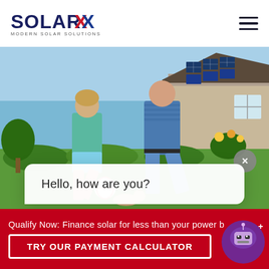[Figure (logo): SolarX logo with 'MODERN SOLAR SOLUTIONS' tagline. Text 'SOLAR' in dark navy/blue, 'X' in red and blue, stylized font.]
[Figure (photo): A father and son playing football/soccer in a garden. The house behind them has solar panels on the roof. Sunny day, green garden with flowers.]
Hello, how are you?
Qualify Now: Finance solar for less than your power b
TRY OUR PAYMENT CALCULATOR
[Figure (illustration): Purple robot/chatbot icon in bottom right corner overlay]